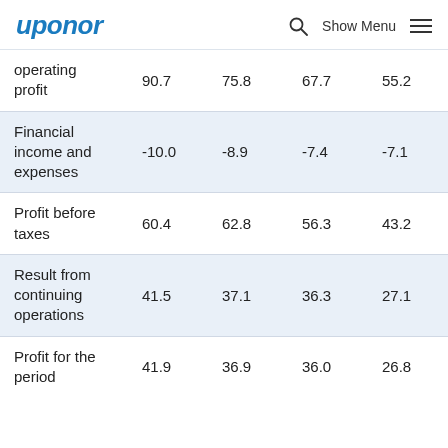uponor   Show Menu
|  | Col1 | Col2 | Col3 | Col4 |
| --- | --- | --- | --- | --- |
| operating profit | 90.7 | 75.8 | 67.7 | 55.2 |
| Financial income and expenses | -10.0 | -8.9 | -7.4 | -7.1 |
| Profit before taxes | 60.4 | 62.8 | 56.3 | 43.2 |
| Result from continuing operations | 41.5 | 37.1 | 36.3 | 27.1 |
| Profit for the period | 41.9 | 36.9 | 36.0 | 26.8 |